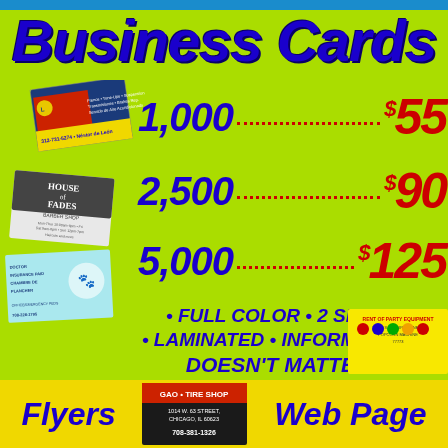Business Cards
1,000 .......... $55
2,500 .......... $90
5,000 .......... $125
• FULL COLOR • 2 SIDES
• LAMINATED • INFORMATION
DOESN'T MATTER
[Figure (photo): Sample business cards fanned out on the left side]
Flyers
[Figure (photo): GAO Tire Shop business card]
Web Page
[Figure (photo): Party equipment rental business card]